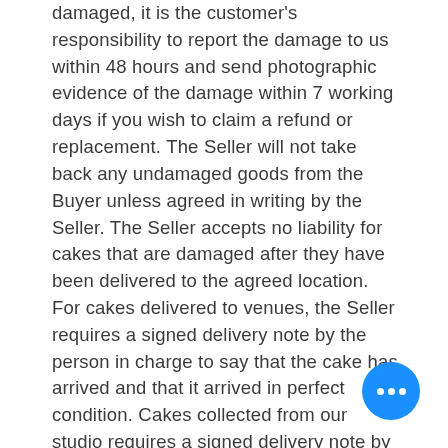damaged, it is the customer's responsibility to report the damage to us within 48 hours and send photographic evidence of the damage within 7 working days if you wish to claim a refund or replacement. The Seller will not take back any undamaged goods from the Buyer unless agreed in writing by the Seller. The Seller accepts no liability for cakes that are damaged after they have been delivered to the agreed location. For cakes delivered to venues, the Seller requires a signed delivery note by the person in charge to say that the cake has arrived and that it arrived in perfect condition. Cakes collected from our studio requires a signed delivery note by the person in charge to say that the cake has arrived and that it arrived in perfect condition. Damages after this point are not the Seller's responsibility. All wedding cakes are fragile and require care and attention when handling, storing, and displaying. Please pay careful attention to our storage and transportation (where relevant) instructions that will be provided with the cake. When a member of the Good...